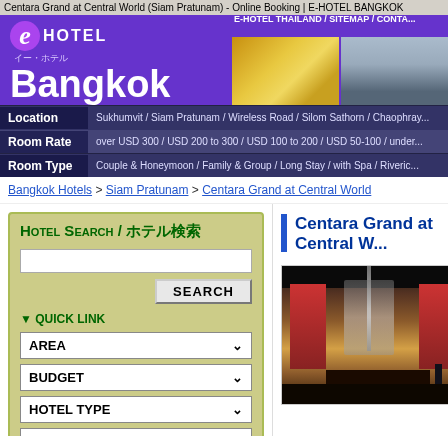Centara Grand at Central World (Siam Pratunam) - Online Booking | E-HOTEL BANGKOK
[Figure (screenshot): E-Hotel Bangkok header banner with logo, Bangkok text, navigation links, and Thai temple/buddha images]
E-HOTEL THAILAND / SITEMAP / CONTA...
Location: Sukhumvit / Siam Pratunam / Wireless Road / Silom Sathorn / Chaophray...
Room Rate: over USD 300 / USD 200 to 300 / USD 100 to 200 / USD 50-100 / under...
Room Type: Couple & Honeymoon / Family & Group / Long Stay / with Spa / Riveric...
Bangkok Hotels > Siam Pratunam > Centara Grand at Central World
HOTEL SEARCH / ホテル検索
▼ QUICK LINK
AREA
BUDGET
HOTEL TYPE
HOTEL NAME
Centara Grand at Central W...
[Figure (photo): Hotel lobby interior showing reception desk with red decorative panels, chandelier, and staff]